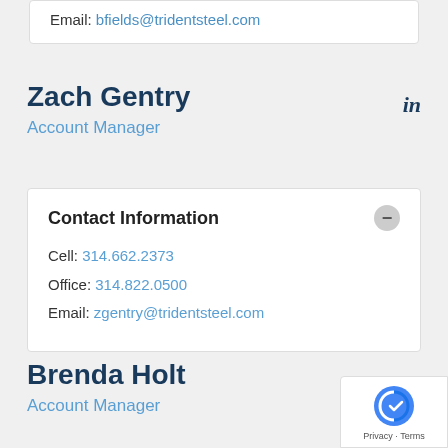Email: bfields@tridentsteel.com
Zach Gentry
Account Manager
Contact Information
Cell: 314.662.2373
Office: 314.822.0500
Email: zgentry@tridentsteel.com
Brenda Holt
Account Manager